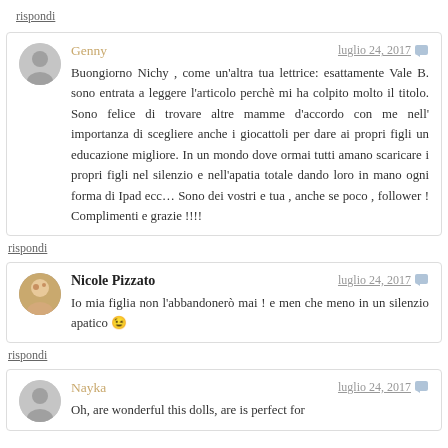rispondi
Genny — luglio 24, 2017
Buongiorno Nichy , come un'altra tua lettrice: esattamente Vale B. sono entrata a leggere l'articolo perchè mi ha colpito molto il titolo. Sono felice di trovare altre mamme d'accordo con me nell' importanza di scegliere anche i giocattoli per dare ai propri figli un educazione migliore. In un mondo dove ormai tutti amano scaricare i propri figli nel silenzio e nell'apatia totale dando loro in mano ogni forma di Ipad ecc… Sono dei vostri e tua , anche se poco , follower ! Complimenti e grazie !!!!
rispondi
Nicole Pizzato — luglio 24, 2017
Io mia figlia non l'abbandonerò mai ! e men che meno in un silenzio apatico 😉
rispondi
Nayka — luglio 24, 2017
Oh, are wonderful this dolls, are is perfect for